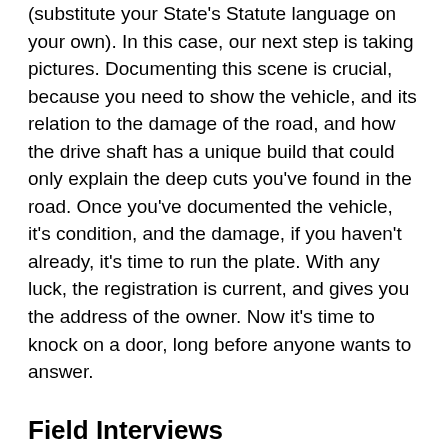(substitute your State's Statute language on your own). In this case, our next step is taking pictures. Documenting this scene is crucial, because you need to show the vehicle, and its relation to the damage of the road, and how the drive shaft has a unique build that could only explain the deep cuts you've found in the road. Once you've documented the vehicle, it's condition, and the damage, if you haven't already, it's time to run the plate. With any luck, the registration is current, and gives you the address of the owner. Now it's time to knock on a door, long before anyone wants to answer.
Field Interviews
At this point you could be dealing with a stolen car